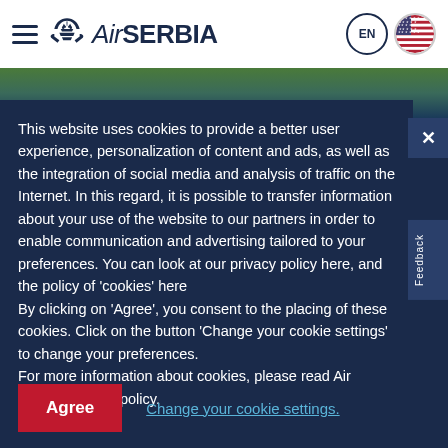Air Serbia - navigation header with hamburger menu, logo, EN language selector and US flag
[Figure (screenshot): Hero image strip showing greenery/nature scene]
This website uses cookies to provide a better user experience, personalization of content and ads, as well as the integration of social media and analysis of traffic on the Internet. In this regard, it is possible to transfer information about your use of the website to our partners in order to enable communication and advertising tailored to your preferences. You can look at our privacy policy here, and the policy of 'cookies' here
By clicking on 'Agree', you consent to the placing of these cookies. Click on the button 'Change your cookie settings' to change your preferences.
For more information about cookies, please read Air Serbia's cookie policy.
Agree
Change your cookie settings.